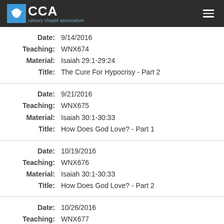CCA - calvary chapel association
Date: 9/14/2016
Teaching: WNX674
Material: Isaiah 29:1-29:24
Title: The Cure For Hypocrisy - Part 2
Date: 9/21/2016
Teaching: WNX675
Material: Isaiah 30:1-30:33
Title: How Does God Love? - Part 1
Date: 10/19/2016
Teaching: WNX676
Material: Isaiah 30:1-30:33
Title: How Does God Love? - Part 2
Date: 10/26/2016
Teaching: WNX677
Material: Isaiah 30:1-30:33
Title: How Does God Love? - Part 3